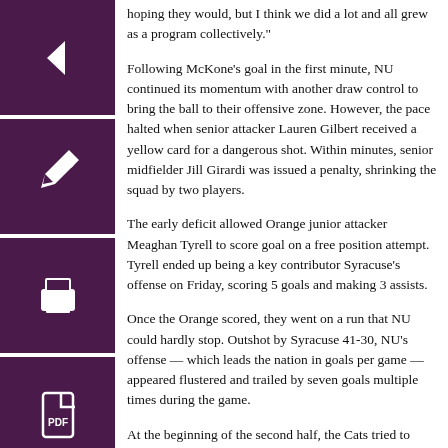hoping they would, but I think we did a lot and all grew as a program collectively."
Following McKone’s goal in the first minute, NU continued its momentum with another draw control to bring the ball to their offensive zone. However, the pace halted when senior attacker Lauren Gilbert received a yellow card for a dangerous shot. Within minutes, senior midfielder Jill Girardi was issued a penalty, shrinking the squad by two players.
The early deficit allowed Orange junior attacker Meaghan Tyrell to score goal on a free position attempt. Tyrell ended up being a key contributor Syracuse’s offense on Friday, scoring 5 goals and making 3 assists.
Once the Orange scored, they went on a run that NU could hardly stop. Outshot by Syracuse 41-30, NU’s offense — which leads the nation in goals per game — appeared flustered and trailed by seven goals multiple times during the game.
At the beginning of the second half, the Cats tried to fight back and cut the lead down to only five goals. But, their quick run was short lived, as the team would scramble to stop a high scoring Orange offense that went on to score another goal.
With fourteen minutes remaining, NU’s offense kicked into high gear by